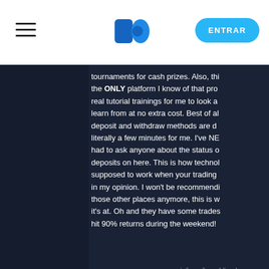ENTRAR
tournaments for cash prizes. Also, this the ONLY platform I know of that pro real tutorial trainings for me to look a learn from at no extra cost. Best of al deposit and withdraw methods are d literally a few minutes for me. I've NE had to ask anyone about the status o deposits on here. This is how technol supposed to work when your trading in my opinion. I won't be recommendi those other places anymore, this is w it's at. Oh and they have some trades hit 90% returns during the weekend!
as revisões são publicadas sem qu alterações ao texto
[Figure (other): User avatar icon, circular, dark blue]
★★★★★
2022-02-18 15:10:59